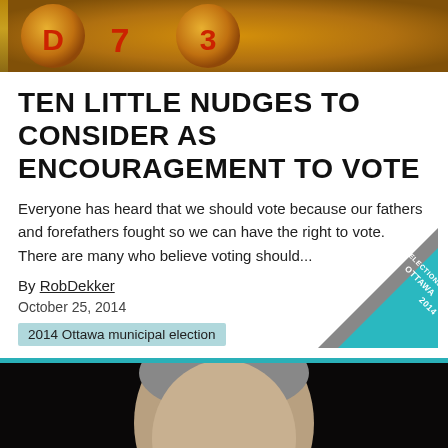[Figure (photo): Top banner with orange/gold background showing partially visible circular logo elements with letters D and 3]
TEN LITTLE NUDGES TO CONSIDER AS ENCOURAGEMENT TO VOTE
Everyone has heard that we should vote because our fathers and forefathers fought so we can have the right to vote.  There are many who believe voting should...
By RobDekker
October 25, 2014
2014 Ottawa municipal election
[Figure (photo): Photo of a middle-aged man with short grey hair and glasses against a dark background, with a teal/cyan horizontal bar above the photo]
[Figure (logo): Corner badge with grey triangle and teal triangle showing text MUNICIPAL ELECTIONS OTTAWA 2014]